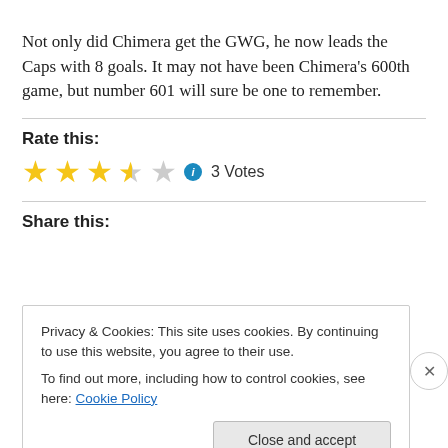Not only did Chimera get the GWG, he now leads the Caps with 8 goals. It may not have been Chimera's 600th game, but number 601 will sure be one to remember.
Rate this:
[Figure (other): Star rating widget showing 3.5 out of 5 stars with info icon and 3 Votes label]
Share this:
Privacy & Cookies: This site uses cookies. By continuing to use this website, you agree to their use. To find out more, including how to control cookies, see here: Cookie Policy